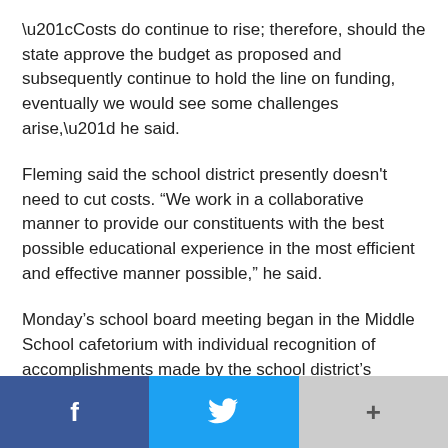“Costs do continue to rise; therefore, should the state approve the budget as proposed and subsequently continue to hold the line on funding, eventually we would see some challenges arise,” he said.
Fleming said the school district presently doesn't need to cut costs. “We work in a collaborative manner to provide our constituents with the best possible educational experience in the most efficient and effective manner possible,” he said.
Monday’s school board meeting began in the Middle School cafetorium with individual recognition of accomplishments made by the school district’s swimming and diving, wrestling, basketball, bowling, speech, and Math Counts teams. Team members, their parents, and coaches attended.
In other business, the school board accepted donations of $1,515, $510.35, and $495 from the Wauseon Athletic